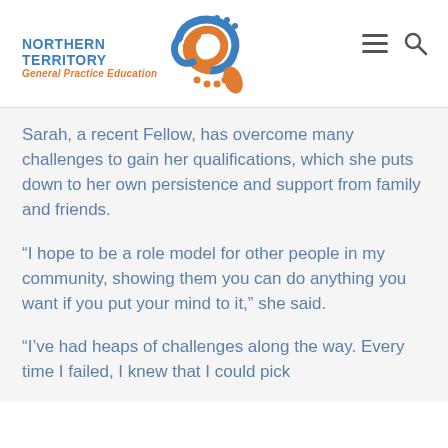Northern Territory General Practice Education
Sarah, a recent Fellow, has overcome many challenges to gain her qualifications, which she puts down to her own persistence and support from family and friends.
“I hope to be a role model for other people in my community, showing them you can do anything you want if you put your mind to it,” she said.
“I’ve had heaps of challenges along the way. Every time I failed, I knew that I could pick